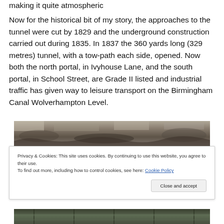making it quite atmospheric
Now for the historical bit of my story, the approaches to the tunnel were cut by 1829 and the underground construction carried out during 1835. In 1837 the 360 yards long (329 metres) tunnel, with a tow-path each side, opened. Now both the north portal, in Ivyhouse Lane, and the south portal, in School Street, are Grade II listed and industrial traffic has given way to leisure transport on the Birmingham Canal Wolverhampton Level.
[Figure (photo): Photograph of a stone canal tunnel interior, showing rocky ceiling and walls]
[Figure (screenshot): Cookie consent banner: Privacy & Cookies notice with Close and accept button]
[Figure (photo): Partial photograph of canal structure at bottom of page]